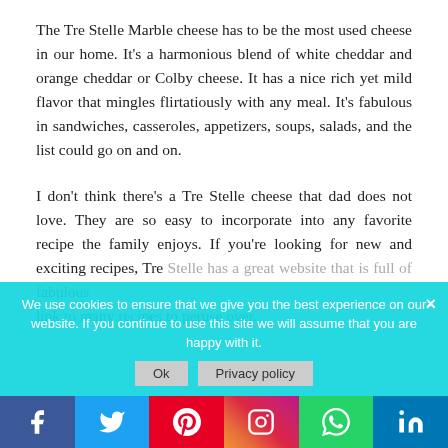The Tre Stelle Marble cheese has to be the most used cheese in our home. It's a harmonious blend of white cheddar and orange cheddar or Colby cheese. It has a nice rich yet mild flavor that mingles flirtatiously with any meal. It's fabulous in sandwiches, casseroles, appetizers, soups, salads, and the list could go on and on.
I don't think there's a Tre Stelle cheese that dad does not love. They are so easy to incorporate into any favorite recipe the family enjoys. If you're looking for new and exciting recipes, Tre Stelle has a great website that is full of fabulous link to many recipes to peruse over.
We use cookies to ensure that we give you the best experience on our website. If you continue to use this site we will assume that you are happy with it.